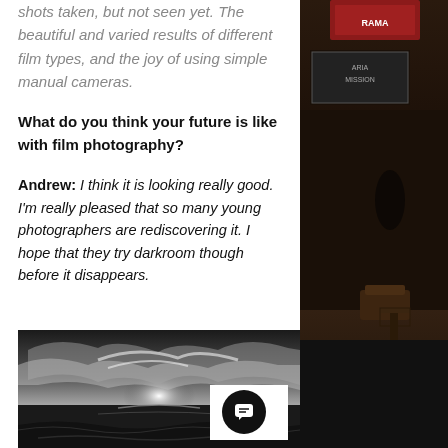shots taken, but not seen yet. The beautiful and varied results of different film types, and the joy of using simple manual cameras.
What do you think your future is like with film photography?
Andrew: I think it is looking really good. I'm really pleased that so many young photographers are rediscovering it. I hope that they try darkroom though before it disappears.
[Figure (photo): Black and white landscape photograph showing a dramatic cloudy sky with light breaking through clouds over a body of water with waves]
[Figure (photo): Right side column showing a dark, moody street scene photograph with shop signs visible]